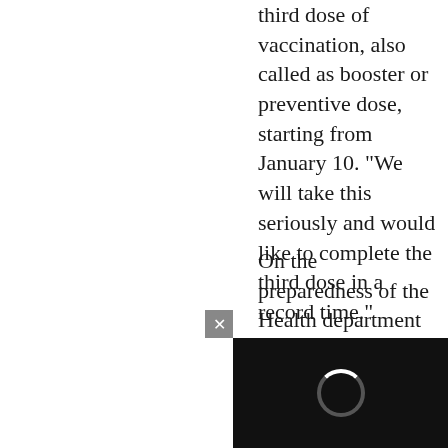third dose of vaccination, also called as booster or preventive dose, starting from January 10. "We will take this seriously and would like to complete the third dose in a record time."
On the preparedness of the Health department for any eventualities, Sudhakar said 3,191 ICU beds would be added to the existing about 4,000 beds.
"In all we will b... more than 7,oo... he said. Similarl...